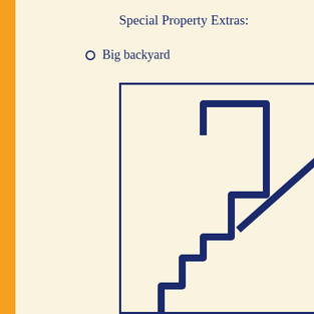Special Property Extras:
Big backyard
Eat-in k
[Figure (engineering-diagram): A partial floor plan showing an L-shaped or stepped room outline drawn in dark navy blue lines on a cream background, enclosed within a navy blue rectangular border. The floor plan shows a stepped/staircase-like outline in the lower-left portion and a diagonal line running from lower-center to upper-right, all in dark navy blue on a cream/beige background.]